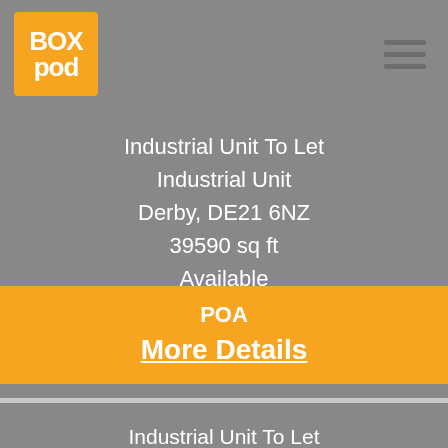[Figure (logo): BoxPod logo - orange square with white text BOX POD]
Industrial Unit To Let
Industrial Unit
Derby, DE21 6NZ
39590 sq ft
Available
POA
More Details
Industrial Unit To Let
Industrial Unit
Derby, DE24 9HL
3014 sq ft